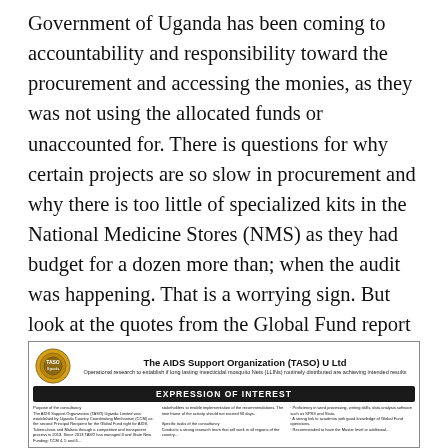Government of Uganda has been coming to accountability and responsibility toward the procurement and accessing the monies, as they was not using the allocated funds or unaccounted for. There is questions for why certain projects are so slow in procurement and why there is too little of specialized kits in the National Medicine Stores (NMS) as they had budget for a dozen more than; when the audit was happening. That is a worrying sign. But look at the quotes from the Global Fund report from February 2016, and see what the important pieces from it are!
[Figure (other): Document header for The AIDS Support Organization (TASO) U Ltd showing logo, organization name, subtitle about operational research on insecticidal mosquito nets, an 'EXPRESSION OF INTEREST' banner, and two columns of small text.]